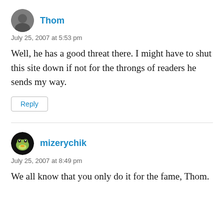Thom
July 25, 2007 at 5:53 pm
Well, he has a good threat there. I might have to shut this site down if not for the throngs of readers he sends my way.
Reply
mizerychik
July 25, 2007 at 8:49 pm
We all know that you only do it for the fame, Thom.